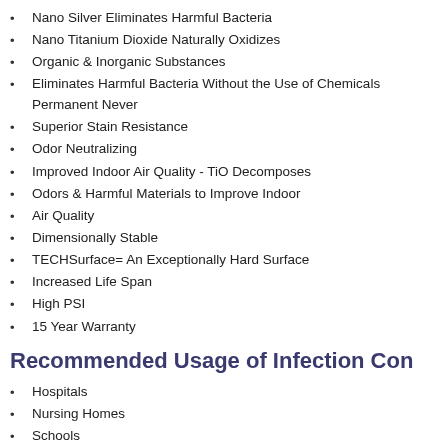Nano Silver Eliminates Harmful Bacteria
Nano Titanium Dioxide Naturally Oxidizes
Organic & Inorganic Substances
Eliminates Harmful Bacteria Without the Use of Chemicals Permanent Never
Superior Stain Resistance
Odor Neutralizing
Improved Indoor Air Quality - TiO Decomposes
Odors & Harmful Materials to Improve Indoor
Air Quality
Dimensionally Stable
TECHSurface= An Exceptionally Hard Surface
Increased Life Span
High PSI
15 Year Warranty
Recommended Usage of Infection Con
Hospitals
Nursing Homes
Schools
Childrens' Areas
Clinics
Retail
Spas
Restrooms